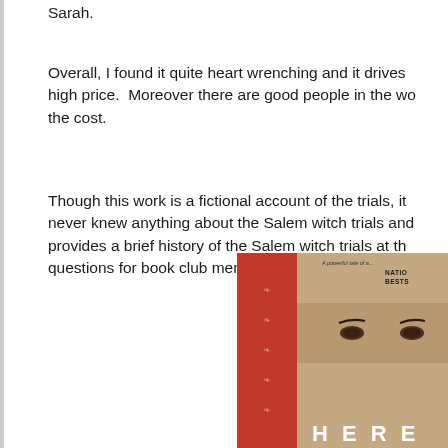Sarah.
Overall, I found it quite heart wrenching and it drives home the high price. Moreover there are good people in the world who are worth the cost.
Though this work is a fictional account of the trials, it is good for anyone who never knew anything about the Salem witch trials and wants to. The book provides a brief history of the Salem witch trials at the end and discussion questions for book club members.
[Figure (photo): Book cover photo showing a close-up of a person's face with text 'NATIONAL BESTSELLER' and partial title text 'HERE' visible, with red and gray color scheme]